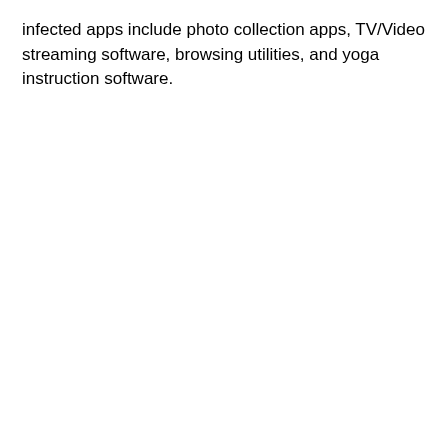infected apps include photo collection apps, TV/Video streaming software, browsing utilities, and yoga instruction software.